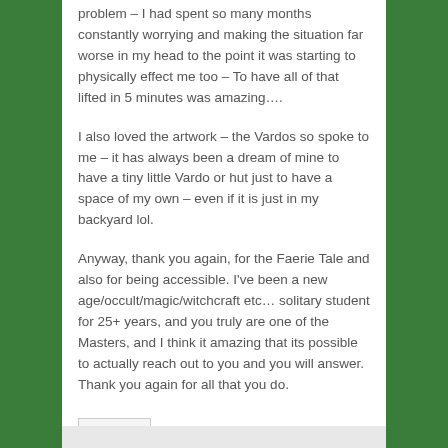problem – I had spent so many months constantly worrying and making the situation far worse in my head to the point it was starting to physically effect me too – To have all of that lifted in 5 minutes was amazing….
I also loved the artwork – the Vardos so spoke to me – it has always been a dream of mine to have a tiny little Vardo or hut just to have a space of my own – even if it is just in my backyard lol.
Anyway, thank you again, for the Faerie Tale and also for being accessible. I've been a new age/occult/magic/witchcraft etc… solitary student for 25+ years, and you truly are one of the Masters, and I think it amazing that its possible to actually reach out to you and you will answer. Thank you again for all that you do.
Reply ↓